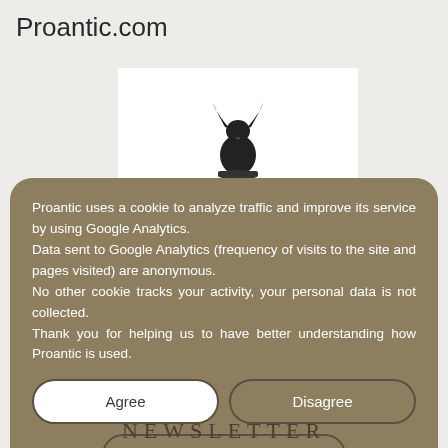Proantic.com
[Figure (illustration): Small black illustration of a rabbit or bird figurine on white background]
Proantic uses a cookie to analyze traffic and improve its service by using Google Analytics.
Data sent to Google Analytics (frequency of visits to the site and pages visited) are anonymous.
No other cookie tracks your activity, your personal data is not collected.
Thank you for helping us to have better understanding how Proantic is used.
Agree
Disagree
More information
NEWSLETTER